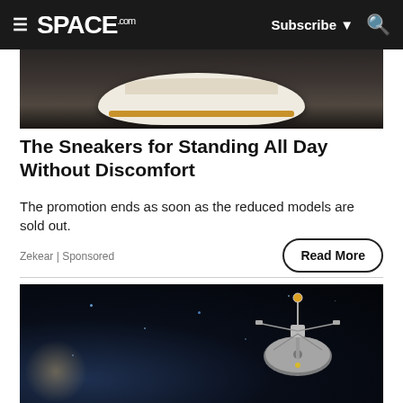SPACE.com — Subscribe | Search
[Figure (photo): Close-up photo of a white sneaker sole on dark background]
The Sneakers for Standing All Day Without Discomfort
The promotion ends as soon as the reduced models are sold out.
Zekear | Sponsored
Read More
[Figure (photo): Illustration of a Voyager spacecraft in deep space with stars in background]